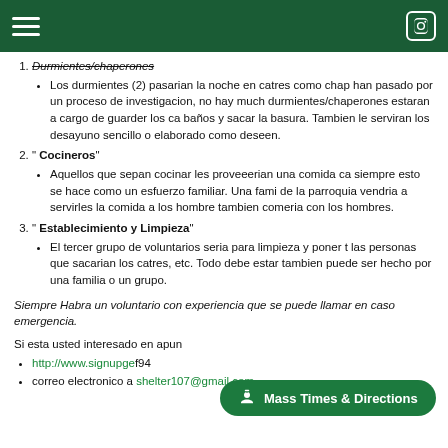Durmientes/chaperones
Los durmientes (2) pasarian la noche en catres como chap han pasado por un proceso de investigacion, no hay muc durmientes/chaperones estaran a cargo de guarder los ca baños y sacar la basura. Tambien le serviran los desayund sencillo o elaborado como deseen.
" Cocineros"
Aquellos que sepan cocinar les proveeran una comida cal siempre esto se hace como un esfuerzo familiar. Una fami de la parroquia vendria a servirles la comida a los hombre tambien comeria con los hombres.
" Establecimiento y Limpieza"
El tercer grupo de voluntarios seria para limpieza y poner t las personas que sacarian los catres, etc. Todo debe estar tambien puede ser hecho por una familia o un grupo.
Siempre Habra un voluntario con experiencia que se puede llamar en caso emergencia.
Si esta usted interesado en apun o:
http://www.signupge f94
correo electronico a shelter107@gmail.com